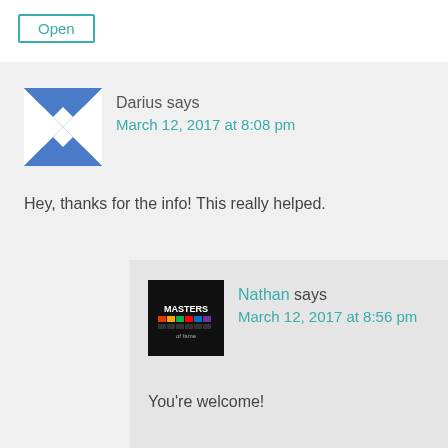Open
[Figure (illustration): Blue and white geometric avatar for user Darius]
Darius says
March 12, 2017 at 8:08 pm
Hey, thanks for the info! This really helped.
[Figure (logo): Masters logo on black background, avatar for Nathan]
Nathan says
March 12, 2017 at 8:56 pm
You're welcome!